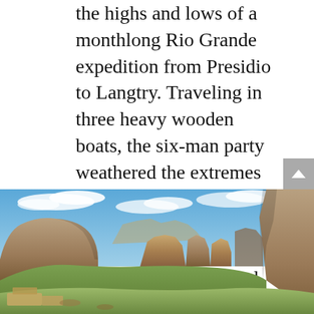the highs and lows of a monthlong Rio Grande expedition from Presidio to Langtry. Traveling in three heavy wooden boats, the six-man party weathered the extremes of desert climate, unpredictable rapids, and exhaustion. But Hill emerged a convert, and he later was a vocal advocate of the establishment of Big Bend National Park.
[Figure (photo): Panoramic landscape photograph of Big Bend area showing dramatic rocky canyon cliffs and mesas under a blue sky with scattered clouds and green hillside vegetation in the foreground.]